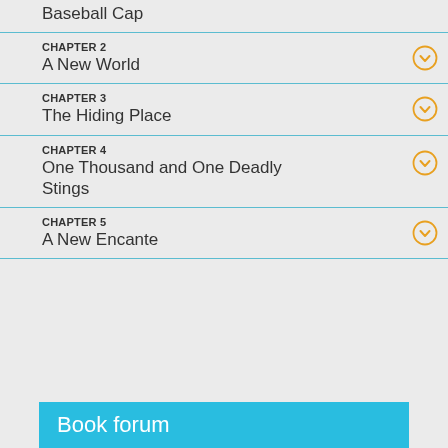Baseball Cap
CHAPTER 2
A New World
CHAPTER 3
The Hiding Place
CHAPTER 4
One Thousand and One Deadly Stings
CHAPTER 5
A New Encante
Book forum